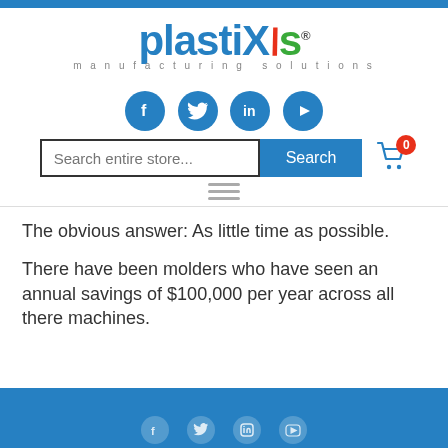[Figure (logo): PlastiXs manufacturing solutions logo with blue text, red X accent, green s, and grey tagline]
[Figure (infographic): Four blue circular social media icons: Facebook, Twitter, LinkedIn, YouTube]
[Figure (screenshot): Search bar with placeholder 'Search entire store...' and blue Search button, plus shopping cart icon with red badge showing 0]
[Figure (infographic): Hamburger menu icon (three horizontal grey lines)]
The obvious answer: As little time as possible.
There have been molders who have seen an annual savings of $100,000 per year across all there machines.
Blue footer bar with social media icons